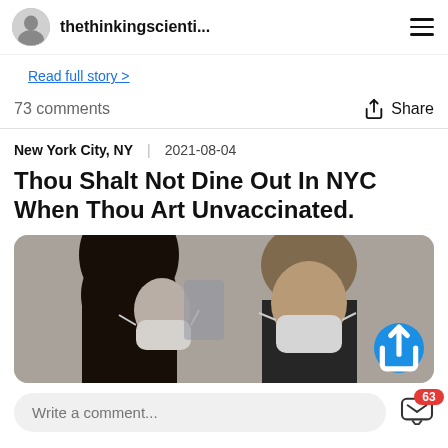thethinkingscienti...
Read full story >
73 comments    Share
New York City, NY   2021-08-04
Thou Shalt Not Dine Out In NYC When Thou Art Unvaccinated.
[Figure (photo): Two people wearing white face masks, one facing away with dark hair, the other a man with light brown hair. Medical/clinical setting background.]
Write a comment...